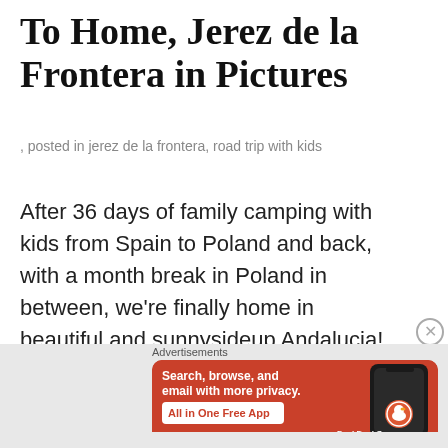To Home, Jerez de la Frontera in Pictures
, posted in jerez de la frontera, road trip with kids
After 36 days of family camping with kids from Spain to Poland and back, with a month break in Poland in between, we're finally home in beautiful and sunnysideup Andalucia! It took us over 4,116 kilometers,
[Figure (screenshot): DuckDuckGo advertisement banner: orange/red background with text 'Search, browse, and email with more privacy. All in One Free App' and DuckDuckGo logo with phone image on the right.]